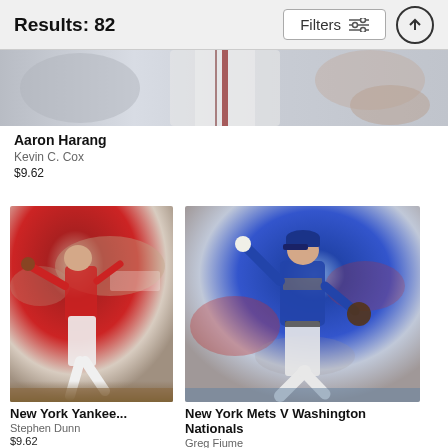Results: 82  Filters
[Figure (photo): Partial photo of baseball player Aaron Harang, cropped at top of page]
Aaron Harang
Kevin C. Cox
$9.62
[Figure (photo): Baseball pitcher in red Angels uniform throwing a pitch]
New York Yankee...
Stephen Dunn
$9.62
[Figure (photo): New York Mets pitcher number 45 in blue uniform throwing a pitch against Washington Nationals]
New York Mets V Washington Nationals
Greg Fiume
$9.62